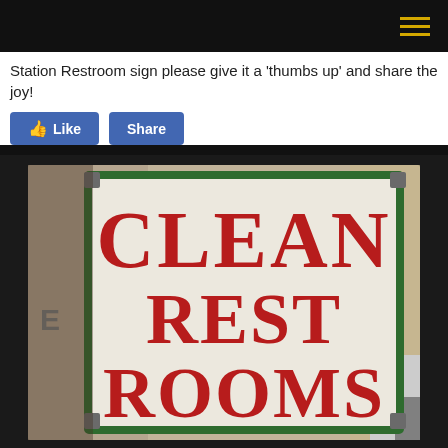Station Restroom sign please give it a 'thumbs up' and share the joy!
[Figure (photo): Vintage enamel 'CLEAN REST ROOMS' gas station sign with red lettering on white background, green metal frame border, displayed in a store setting]
[Figure (screenshot): Facebook Like and Share buttons]